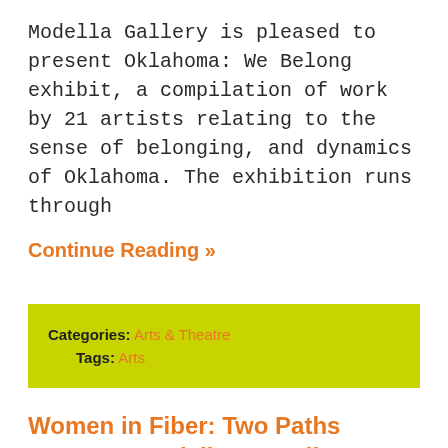Modella Gallery is pleased to present Oklahoma: We Belong exhibit, a compilation of work by 21 artists relating to the sense of belonging, and dynamics of Oklahoma. The exhibition runs through
Continue Reading »
Categories: Arts & Theatre
Tags: Arts
Women in Fiber: Two Paths Opens at Modella Art Gallery
June 6, 2022 by Modella Art Gallery